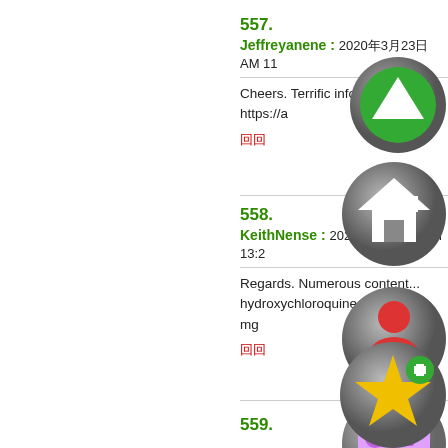557.
Jeffreyanene : 2020年3月23日 AM 11...
Cheers. Terrific information. https://...
回
558.
KeithNense : 2020年3月23日 PM 13:2...
Regards. Numerous content... hydroxychloroquine sulfate 200 mg...
回
559.